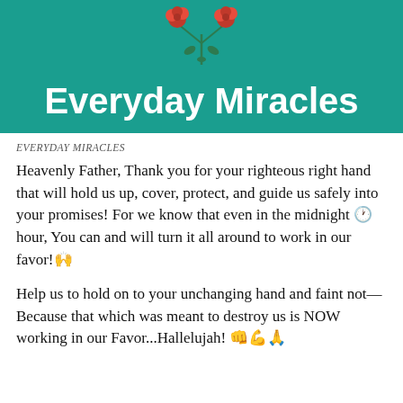[Figure (illustration): Teal/green banner with 'Everyday Miracles' in bold white text and two red roses with green stems/leaves above the text on a teal background.]
EVERYDAY MIRACLES
Heavenly Father, Thank you for your righteous right hand that will hold us up, cover, protect, and guide us safely into your promises! For we know that even in the midnight 🕐 hour, You can and will turn it all around to work in our favor!🙌
Help us to hold on to your unchanging hand and faint not—Because that which was meant to destroy us is NOW working in our Favor...Hallelujah! 👊💪🙏